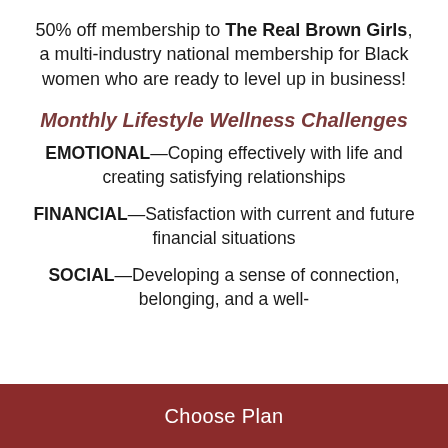50% off membership to The Real Brown Girls, a multi-industry national membership for Black women who are ready to level up in business!
Monthly Lifestyle Wellness Challenges
EMOTIONAL—Coping effectively with life and creating satisfying relationships
FINANCIAL—Satisfaction with current and future financial situations
SOCIAL—Developing a sense of connection, belonging, and a well-
Choose Plan